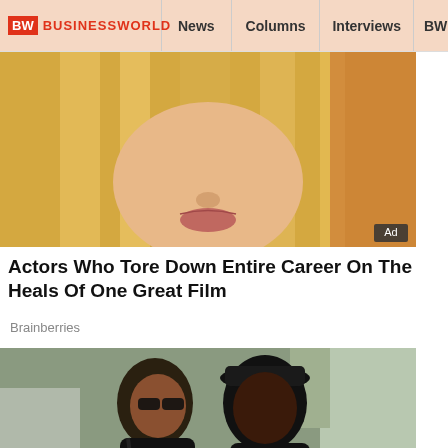BW BUSINESSWORLD | News | Columns | Interviews | BW
[Figure (photo): Close-up photo of a blonde woman, advertisement image with 'Ad' badge in bottom right corner]
Actors Who Tore Down Entire Career On The Heals Of One Great Film
Brainberries
[Figure (photo): Photo of two celebrities dressed in black walking together outdoors]
[Figure (other): Video player overlay with close button (x), 'Ads by eRG' label, and play button with red/orange spinner circle on dark background]
These Celebrities Will Forever Be Synonymous With Infidelity...